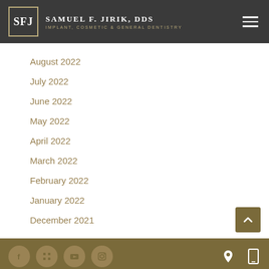Samuel F. Jirik, DDS — Implant, Cosmetic & General Dentistry
August 2022
July 2022
June 2022
May 2022
April 2022
March 2022
February 2022
January 2022
December 2021
Social icons: Facebook, Grid, YouTube, Instagram; Location and Mobile icons